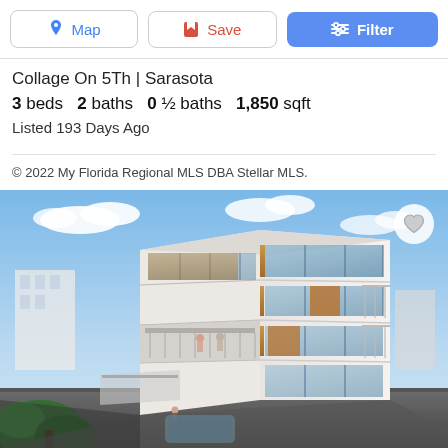[Figure (screenshot): Toolbar with three buttons: Map (blue text, location pin icon), Save (red text, save icon), Filter (white text on blue background, sliders icon)]
Collage On 5Th | Sarasota
3 beds  2 baths  0 ½ baths  1,850 sqft
Listed 193 Days Ago
© 2022 My Florida Regional MLS DBA Stellar MLS.
[Figure (photo): Architectural rendering of a modern multi-story white condominium building (Collage On 5Th, Sarasota) viewed from above-angle, with large glass windows, wood accent panels, open balconies, rooftop terrace, surrounded by neighboring white buildings and dark pavement. Heart/favorite button in top-right corner overlay.]